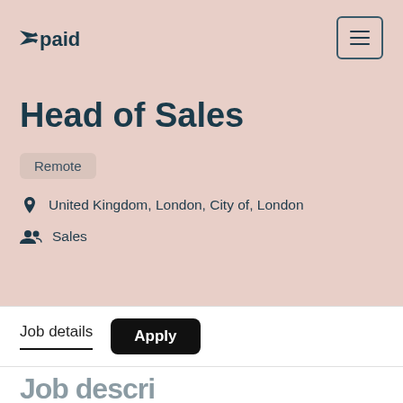=paid
Head of Sales
Remote
United Kingdom, London, City of, London
Sales
Job details
Apply
Job description